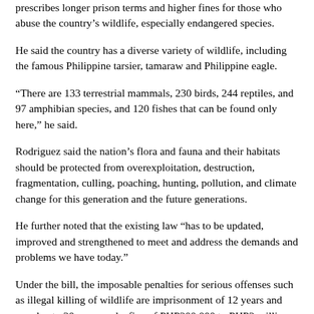prescribes longer prison terms and higher fines for those who abuse the country's wildlife, especially endangered species.
He said the country has a diverse variety of wildlife, including the famous Philippine tarsier, tamaraw and Philippine eagle.
“There are 133 terrestrial mammals, 230 birds, 244 reptiles, and 97 amphibian species, and 120 fishes that can be found only here,” he said.
Rodriguez said the nation’s flora and fauna and their habitats should be protected from overexploitation, destruction, fragmentation, culling, poaching, hunting, pollution, and climate change for this generation and the future generations.
He further noted that the existing law “has to be updated, improved and strengthened to meet and address the demands and problems we have today.”
Under the bill, the imposable penalties for serious offenses such as illegal killing of wildlife are imprisonment of 12 years and one day to 20 years and a fine of PHP200,000 to PHP2 million.